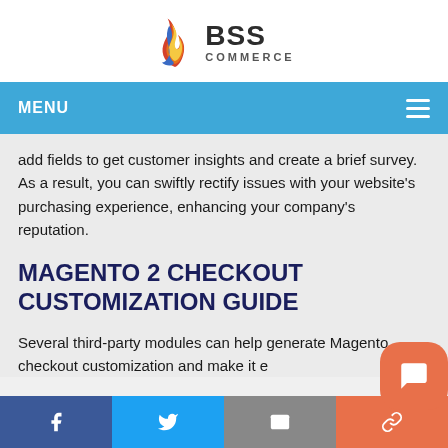[Figure (logo): BSS Commerce logo with flame icon]
MENU
add fields to get customer insights and create a brief survey. As a result, you can swiftly rectify issues with your website's purchasing experience, enhancing your company's reputation.
MAGENTO 2 CHECKOUT CUSTOMIZATION GUIDE
Several third-party modules can help generate Magento checkout customization and make it e